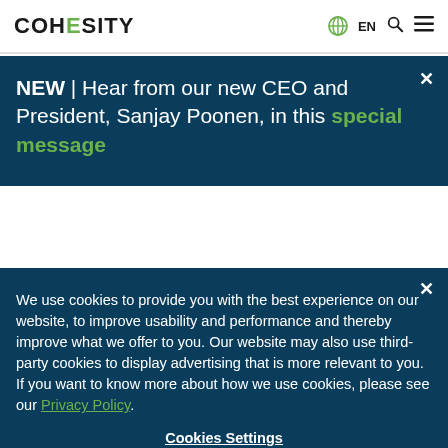COHESITY | EN
NEW | Hear from our new CEO and President, Sanjay Poonen, in this special message
We use cookies to provide you with the best experience on our website, to improve usability and performance and thereby improve what we offer to you. Our website may also use third-party cookies to display advertising that is more relevant to you. If you want to know more about how we use cookies, please see our Privacy Policy.
Cookies Settings
Accept Cookies